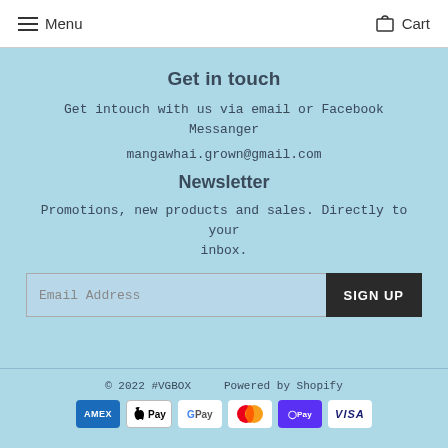Menu   Cart
Get in touch
Get intouch with us via email or Facebook Messanger
mangawhai.grown@gmail.com
Newsletter
Promotions, new products and sales. Directly to your inbox.
Email Address   SIGN UP
© 2022 #VGBOX   Powered by Shopify
[Figure (other): Payment method icons: American Express, Apple Pay, Google Pay, Mastercard, Shop Pay, Visa]